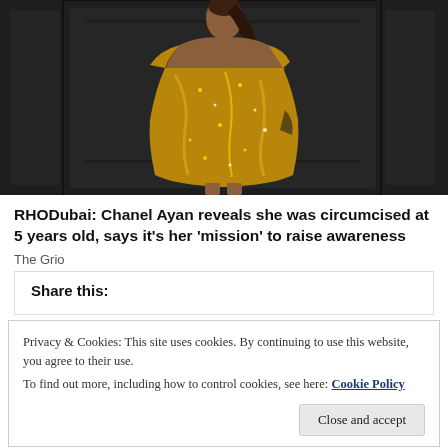[Figure (photo): A model wearing a gold sequined off-shoulder gown against a dark paneled background]
RHODubai: Chanel Ayan reveals she was circumcised at 5 years old, says it's her 'mission' to raise awareness
The Grio
Share this:
Privacy & Cookies: This site uses cookies. By continuing to use this website, you agree to their use.
To find out more, including how to control cookies, see here: Cookie Policy
Close and accept